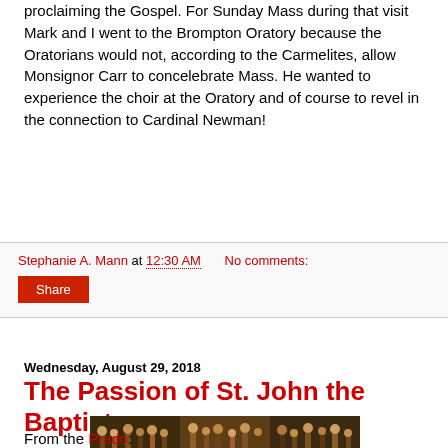proclaiming the Gospel. For Sunday Mass during that visit Mark and I went to the Brompton Oratory because the Oratorians would not, according to the Carmelites, allow Monsignor Carr to concelebrate Mass. He wanted to experience the choir at the Oratory and of course to revel in the connection to Cardinal Newman!
Stephanie A. Mann at 12:30 AM   No comments:
Share
Wednesday, August 29, 2018
The Passion of St. John the Baptist
[Figure (photo): A wide panoramic painting depicting a large crowd scene, likely a historical or religious subject, with many figures in period costume.]
From the Prado: